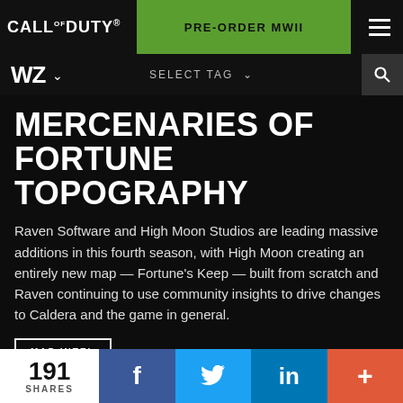CALL OF DUTY® | PRE-ORDER MWII
WZ ∨  SELECT TAG ∨
MERCENARIES OF FORTUNE TOPOGRAPHY
Raven Software and High Moon Studios are leading massive additions in this fourth season, with High Moon creating an entirely new map — Fortune's Keep — built from scratch and Raven continuing to use community insights to drive changes to Caldera and the game in general.
MAP INTEL
PLAY FREE NOW
191 SHARES | f | 🐦 | in | +